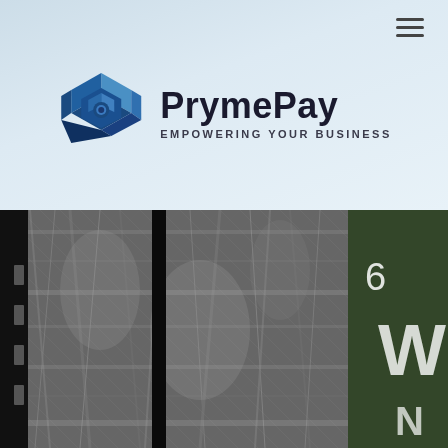[Figure (logo): PrymePay logo with blue hexagonal 'P' icon and text 'PrymePay' with tagline 'EMPOWERING YOUR BUSINESS' on light blue background with hamburger menu icon]
[Figure (photo): Black and white close-up photograph of a frosted glass door panel with dark metal frame, hinges visible on left side, and partial white lettering visible on the right side of the image]